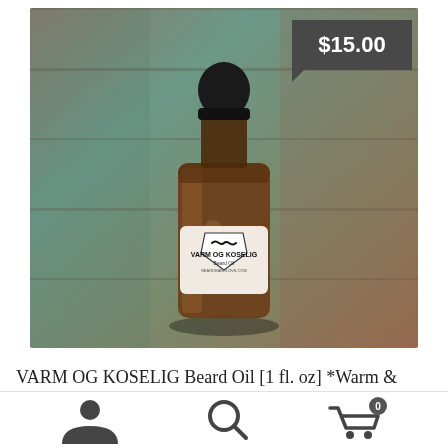[Figure (photo): A dark amber glass dropper bottle with a black rubber dropper top. The bottle has a white label reading 'VARM OG KOSELIG Beard Oil' with a mustache logo. The bottle sits on a rustic painted wood surface. A dark grey price tag showing '$15.00' is in the top right corner of the image.]
VARM OG KOSELIG Beard Oil [1 fl. oz] *Warm &
[Figure (other): Bottom navigation bar with three icons: a person/account icon on the left, a search magnifying glass icon in the center, and a shopping cart icon with a badge showing '0' on the right.]